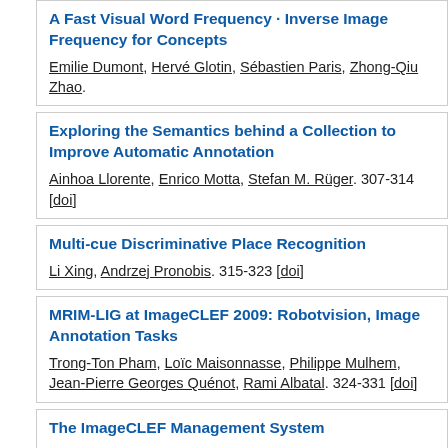A Fast Visual Word Frequency - Inverse Image Frequency for Concepts
Emilie Dumont, Hervé Glotin, Sébastien Paris, Zhong-Qiu Zhao.
Exploring the Semantics behind a Collection to Improve Automatic Annotation
Ainhoa Llorente, Enrico Motta, Stefan M. Rüger. 307-314 [doi]
Multi-cue Discriminative Place Recognition
Li Xing, Andrzej Pronobis. 315-323 [doi]
MRIM-LIG at ImageCLEF 2009: Robotvision, Image Annotation Tasks
Trong-Ton Pham, Loïc Maisonnasse, Philippe Mulhem, Jean-Pierre Georges Quénot, Rami Albatal. 324-331 [doi]
The ImageCLEF Management System
Ivan Eggel, Henning Müller. 332-339 [doi]